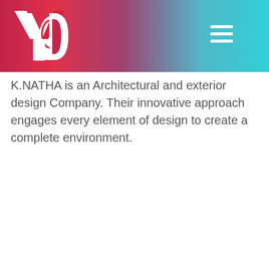[Figure (logo): YD logo in white and red on gradient header bar with hamburger menu icon]
K.NATHA is an Architectural and exterior design Company. Their innovative approach engages every element of design to create a complete environment.